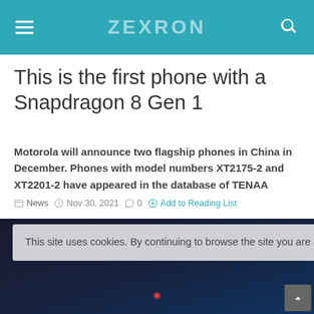ZEXRON
This is the first phone with a Snapdragon 8 Gen 1
Motorola will announce two flagship phones in China in December. Phones with model numbers XT2175-2 and XT2201-2 have appeared in the database of TENAA
News  Nov 30, 2021  0  Add to Reading List
This site uses cookies. By continuing to browse the site you are agreeing to our use of cookies Find out more here
[Figure (screenshot): Dark technology background image partially visible behind cookie consent banner]